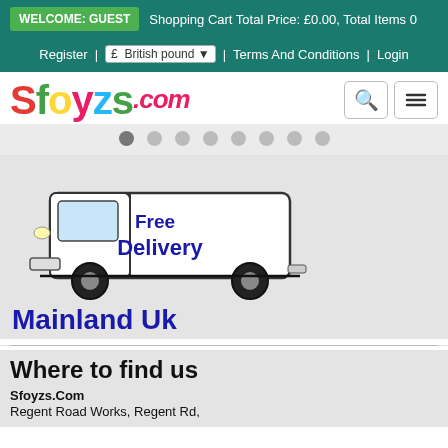WELCOME: GUEST  Shopping Cart Total Price: £0.00, Total Items 0
Register | £ British pound ▾ | Terms And Conditions | Login
[Figure (logo): Sfoyzs.com logo with colorful letters and search/menu buttons]
[Figure (illustration): White delivery van with 'Free Delivery' text and 'Mainland Uk' below]
Where to find us
Sfoyzs.Com
Regent Road Works, Regent Rd,